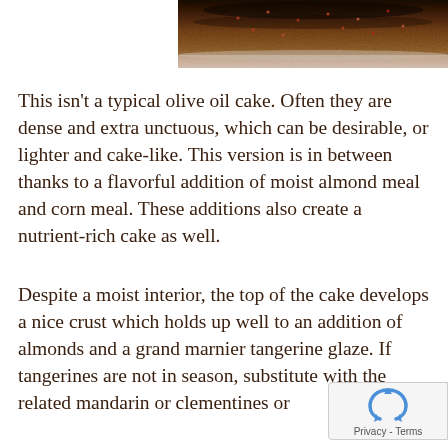[Figure (photo): Top portion of a dark chocolate cake on a plate, viewed from above, with textured top surface]
This isn't a typical olive oil cake. Often they are dense and extra unctuous, which can be desirable, or lighter and cake-like. This version is in between thanks to a flavorful addition of moist almond meal and corn meal. These additions also create a nutrient-rich cake as well.
Despite a moist interior, the top of the cake develops a nice crust which holds up well to an addition of almonds and a grand marnier tangerine glaze. If tangerines are not in season, substitute with the related mandarin or clementines or